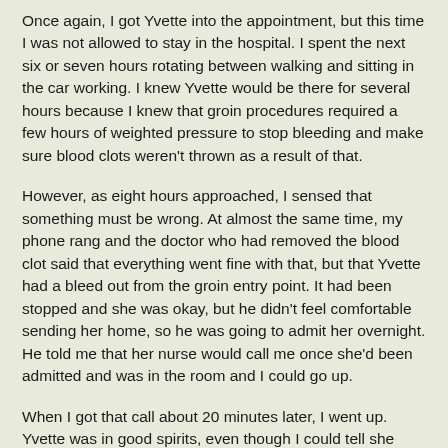Once again, I got Yvette into the appointment, but this time I was not allowed to stay in the hospital. I spent the next six or seven hours rotating between walking and sitting in the car working. I knew Yvette would be there for several hours because I knew that groin procedures required a few hours of weighted pressure to stop bleeding and make sure blood clots weren't thrown as a result of that.
However, as eight hours approached, I sensed that something must be wrong. At almost the same time, my phone rang and the doctor who had removed the blood clot said that everything went fine with that, but that Yvette had a bleed out from the groin entry point. It had been stopped and she was okay, but he didn't feel comfortable sending her home, so he was going to admit her overnight. He told me that her nurse would call me once she'd been admitted and was in the room and I could go up.
When I got that call about 20 minutes later, I went up. Yvette was in good spirits, even though I could tell she was in pain, and she told me firsthand what had happened. Shortly after I got in the room, one of Dr. Fauci's P.A.s came in the room and asked how she could help.
I said the biggest issue was Yvette's pain, and she said she would get started on pain management right away. Yvette ended up staying in